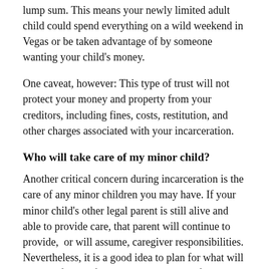lump sum. This means your newly limited adult child could spend everything on a wild weekend in Vegas or be taken advantage of by someone wanting your child's money.
One caveat, however: This type of trust will not protect your money and property from your creditors, including fines, costs, restitution, and other charges associated with your incarceration.
Who will take care of my minor child?
Another critical concern during incarceration is the care of any minor children you may have. If your minor child's other legal parent is still alive and able to provide care, that parent will continue to provide,  or will assume, caregiver responsibilities. Nevertheless, it is a good idea to plan for what will happen if both of you are unable to care for the minor child, just in case. If you are the only living parent or the other legal